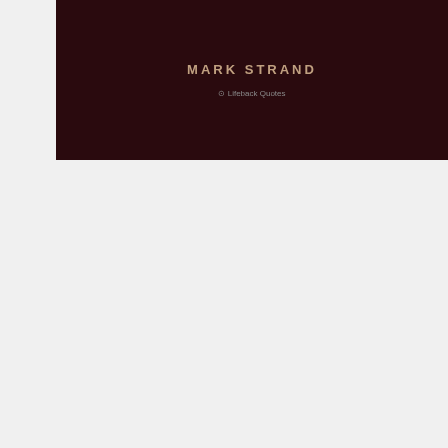[Figure (screenshot): Dark maroon background image with text 'MARK STRAND' in gold/tan bold letters and a small logo text 'Lifeback Quotes' below]
[Figure (photo): A quote image showing a young woman with sunglasses in a green natural environment with arms outstretched, overlaid with a Kafka quote: 'From a certain point onward there is no longer any turning back. That is the point that must be reached.' Social sharing buttons (Pinterest, Facebook, helpful, non helpful) overlay the top. An advertisement overlay shows '37 Beauty Products With Such Good Reviews You Might Want To Try Them Yourself' with a '22 Words' logo circle and a smiling woman photo. A CLOSE button is visible.]